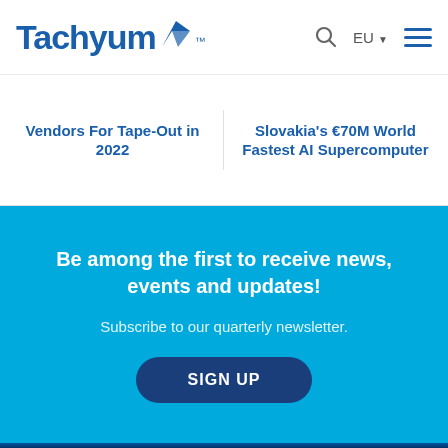Tachyum
Vendors For Tape-Out in 2022
Slovakia's €70M World Fastest AI Supercomputer
Be among the first to receive news, events and updates!
Subscribe to our quarterly newsletter.
SIGN UP